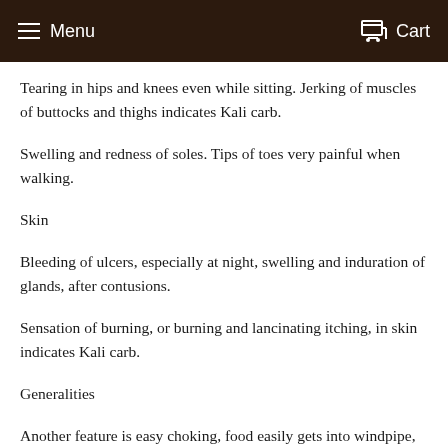Menu  Cart
Tearing in hips and knees even while sitting. Jerking of muscles of buttocks and thighs indicates Kali carb.
Swelling and redness of soles. Tips of toes very painful when walking.
Skin
Bleeding of ulcers, especially at night, swelling and induration of glands, after contusions.
Sensation of burning, or burning and lancinating itching, in skin indicates Kali carb.
Generalities
Another feature is easy choking, food easily gets into windpipe, pain in back when swallowing. Violent stitching or jerking pains.
The stitching pains, sweat, and weakness are leading